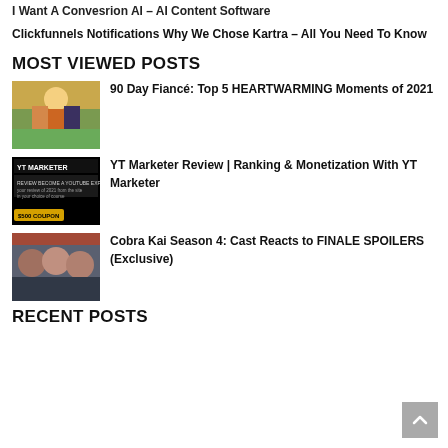I Want A Convesrion AI – AI Content Software
Clickfunnels Notifications Why We Chose Kartra – All You Need To Know
MOST VIEWED POSTS
[Figure (photo): Wedding scene with people in colorful traditional attire]
90 Day Fiancé: Top 5 HEARTWARMING Moments of 2021
[Figure (screenshot): YT Marketer promotional image with $500 coupon on dark background]
YT Marketer Review | Ranking & Monetization With YT Marketer
[Figure (photo): Cobra Kai cast members grouped together]
Cobra Kai Season 4: Cast Reacts to FINALE SPOILERS (Exclusive)
RECENT POSTS